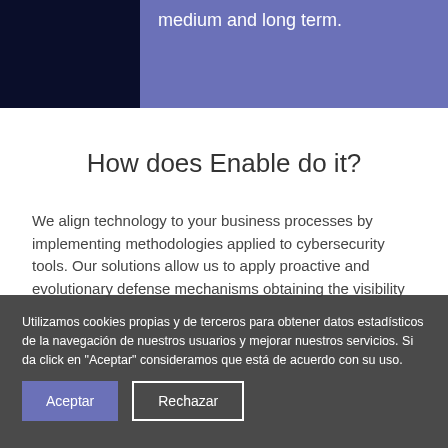medium and long term.
How does Enable do it?
We align technology to your business processes by implementing methodologies applied to cybersecurity tools. Our solutions allow us to apply proactive and evolutionary defense mechanisms obtaining the visibility
Utilizamos cookies propias y de terceros para obtener datos estadísticos de la navegación de nuestros usuarios y mejorar nuestros servicios. Si da click en "Aceptar" consideramos que está de acuerdo con su uso.